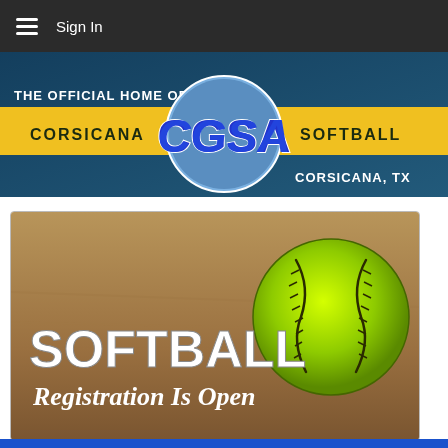≡  Sign In
[Figure (logo): CGSA banner — THE OFFICIAL HOME OF CORSICANA CGSA SOFTBALL CORSICANA, TX on blue and yellow background]
[Figure (photo): Softball registration promotional image showing a green softball on a dirt field with text: SOFTBALL Registration Is Open]
[Figure (other): Blue horizontal bar at bottom of page]